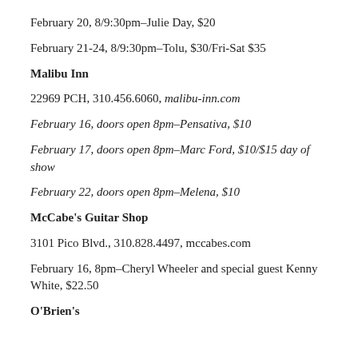February 20, 8/9:30pm–Julie Day, $20
February 21-24, 8/9:30pm–Tolu, $30/Fri-Sat $35
Malibu Inn
22969 PCH, 310.456.6060, malibu-inn.com
February 16, doors open 8pm–Pensativa, $10
February 17, doors open 8pm–Marc Ford, $10/$15 day of show
February 22, doors open 8pm–Melena, $10
McCabe's Guitar Shop
3101 Pico Blvd., 310.828.4497, mccabes.com
February 16, 8pm–Cheryl Wheeler and special guest Kenny White, $22.50
O'Brien's